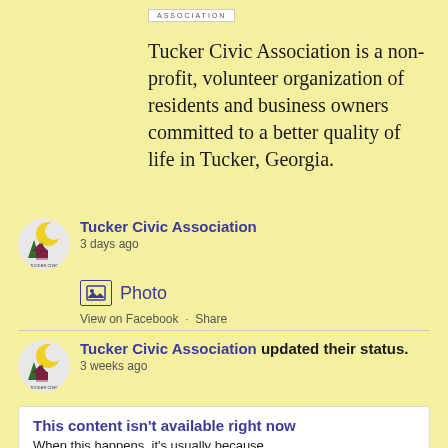[Figure (logo): Tucker Civic Association logo/header with text ASSOCIATION]
Tucker Civic Association is a non-profit, volunteer organization of residents and business owners committed to a better quality of life in Tucker, Georgia.
Tucker Civic Association
3 days ago
Photo
View on Facebook · Share
Tucker Civic Association updated their status.
3 weeks ago
This content isn't available right now
When this happens, it's usually because